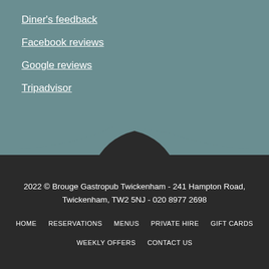Diner's feedback
Facebook reviews
Google reviews
Tripadvisor
2022 © Brouge Gastropub Twickenham - 241 Hampton Road, Twickenham, TW2 5NJ - 020 8977 2698
HOME   RESERVATIONS   MENUS   PRIVATE HIRE   GIFT CARDS   WEEKLY OFFERS   CONTACT US